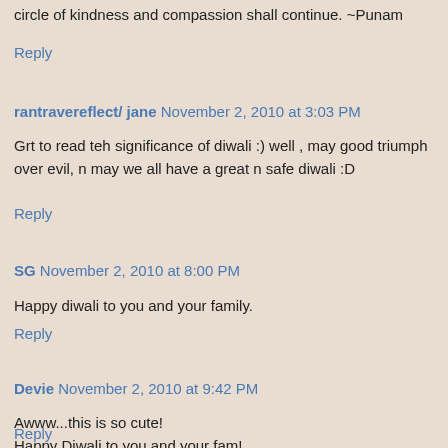circle of kindness and compassion shall continue. ~Punam
Reply
rantravereflect/ jane November 2, 2010 at 3:03 PM
Grt to read teh significance of diwali :) well , may good triumph over evil, n may we all have a great n safe diwali :D
Reply
SG November 2, 2010 at 8:00 PM
Happy diwali to you and your family.
Reply
Devie November 2, 2010 at 9:42 PM
Awww...this is so cute!
Happy Diwali to you and your fam!
Reply